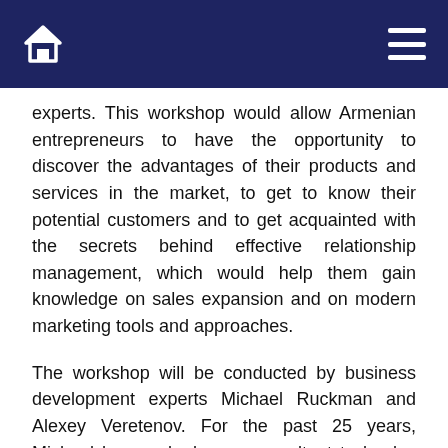[navigation bar with home icon and menu icon]
experts. This workshop would allow Armenian entrepreneurs to have the opportunity to discover the advantages of their products and services in the market, to get to know their potential customers and to get acquainted with the secrets behind effective relationship management, which would help them gain knowledge on sales expansion and on modern marketing tools and approaches.
The workshop will be conducted by business development experts Michael Ruckman and Alexey Veretenov. For the past 25 years, Michael has worked as a consultant to banks, retailers, technology companies, telecoms, and even governments in more than 30 countries.  Alexey Veretenov has worked in about 60 companies and participated in more than 100 business projects. Alexey has successfully designed and implemented projects in retail and corporate strategy, business